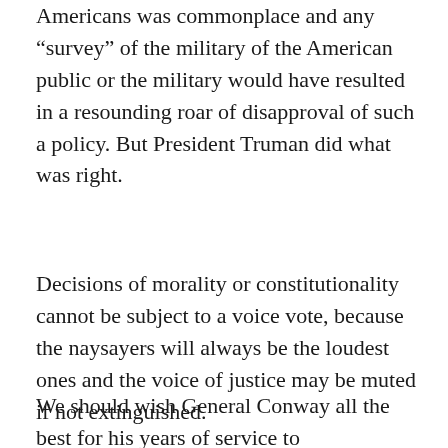Americans was commonplace and any “survey” of the military of the American public or the military would have resulted in a resounding roar of disapproval of such a policy. But President Truman did what was right.
Decisions of morality or constitutionality cannot be subject to a voice vote, because the naysayers will always be the loudest ones and the voice of justice may be muted if not extinguished.
We should wish General Conway all the best for his years of service to